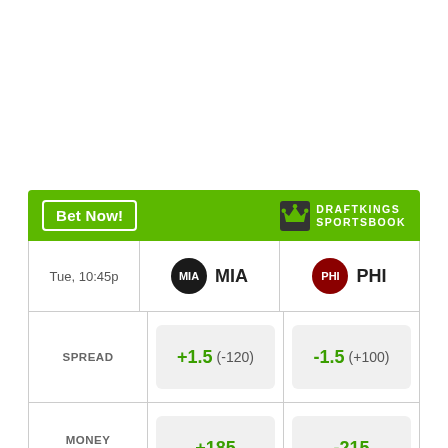[Figure (screenshot): DraftKings Sportsbook betting odds widget for MIA vs PHI game on Tuesday 10:45pm. Shows spread, money line, and over/under odds.]
|  | MIA | PHI |
| --- | --- | --- |
| SPREAD | +1.5 (-120) | -1.5 (+100) |
| MONEY LINE | +185 | -215 |
| OVER UNDER | > 7 (+100) / < 7 (-120) |  |